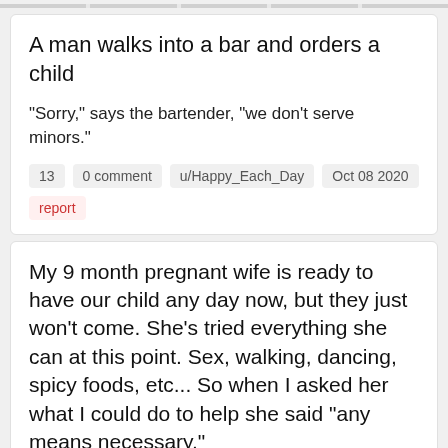A man walks into a bar and orders a child
"Sorry," says the bartender, "we don't serve minors."
13   0 comment   u/Happy_Each_Day   Oct 08 2020
report
My 9 month pregnant wife is ready to have our child any day now, but they just won’t come. She’s tried everything she can at this point. Sex, walking, dancing, spicy foods, etc... So when I asked her what I could do to help she said “any means necessary.”
To which I replied “No it doesn’t.”